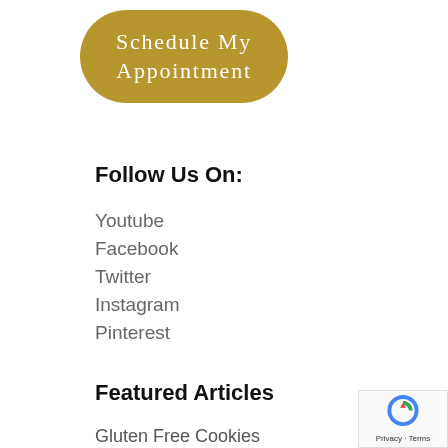[Figure (other): Golden oval button with white serif text reading 'Schedule My Appointment']
Follow Us On:
Youtube
Facebook
Twitter
Instagram
Pinterest
Featured Articles
Gluten Free Cookies
Chinese Herbs For Back Pain and Sciatica–Shu Jin 2
Dry Needling for IT Band Syndrome and Runners Knee